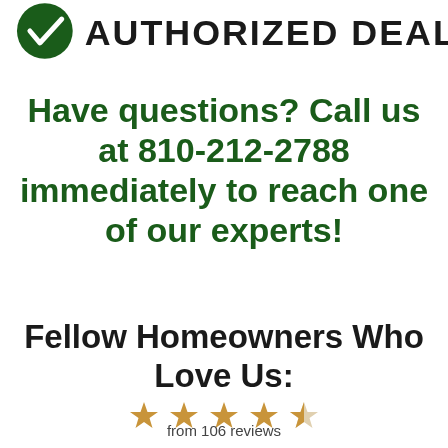[Figure (logo): Authorized Dealer logo with checkmark icon and bold text 'AUTHORIZED DEALER']
Have questions? Call us at 810-212-2788 immediately to reach one of our experts!
Fellow Homeowners Who Love Us:
[Figure (infographic): 4.5 star rating shown as golden stars]
from 106 reviews